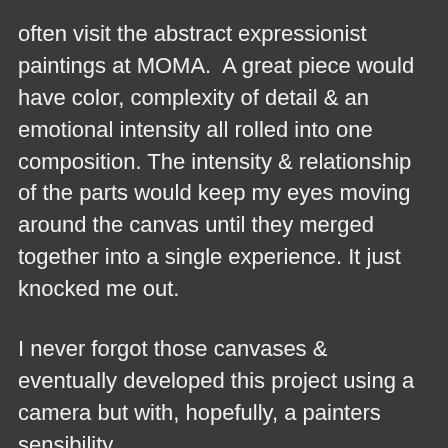often visit the abstract expressionist paintings at MOMA.  A great piece would have color, complexity of detail & an emotional intensity all rolled into one composition. The intensity & relationship of the parts would keep my eyes moving around the canvas until they merged together into a single experience. It just knocked me out.
I never forgot those canvases & eventually developed this project using a camera but with, hopefully, a painters sensibility.
Photography is perceived as conceptually different from painting. Unique to this medium, it is considered primarily a carrier...